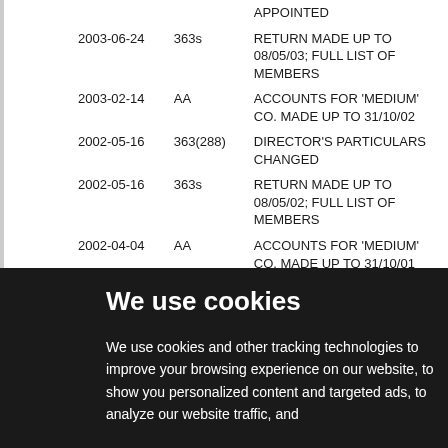| Date | Type | Description |
| --- | --- | --- |
|  |  | APPOINTED |
| 2003-06-24 | 363s | RETURN MADE UP TO 08/05/03; FULL LIST OF MEMBERS |
| 2003-02-14 | AA | ACCOUNTS FOR 'MEDIUM' CO. MADE UP TO 31/10/02 |
| 2002-05-16 | 363(288) | DIRECTOR'S PARTICULARS CHANGED |
| 2002-05-16 | 363s | RETURN MADE UP TO 08/05/02; FULL LIST OF MEMBERS |
| 2002-04-04 | AA | ACCOUNTS FOR 'MEDIUM' CO. MADE UP TO 31/10/01 |
| 2001-05-17 | 363s | RETURN MADE UP TO 08/05/01; FULL LIST OF MEMBERS |
| 2001-04-04 | 288l | SECRETARY RESIGNED |
We use cookies
We use cookies and other tracking technologies to improve your browsing experience on our website, to show you personalized content and targeted ads, to analyze our website traffic, and